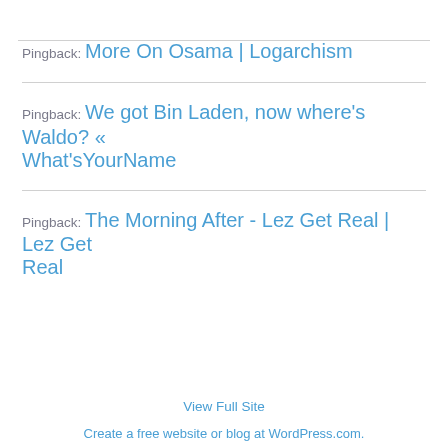Pingback: More On Osama | Logarchism
Pingback: We got Bin Laden, now where's Waldo? « What'sYourName
Pingback: The Morning After - Lez Get Real | Lez Get Real
View Full Site
Create a free website or blog at WordPress.com.